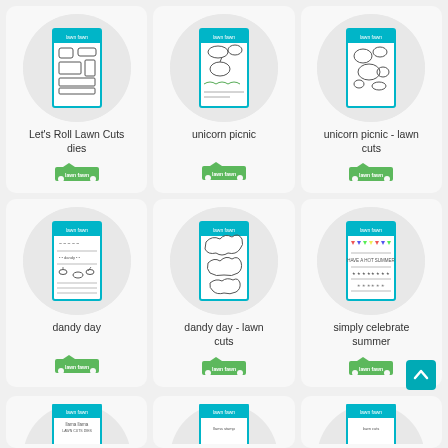[Figure (illustration): Product grid showing craft stamp/die sets from Lawn Fawn brand. Row 1: Let's Roll Lawn Cuts dies, unicorn picnic, unicorn picnic - lawn cuts. Row 2: dandy day, dandy day - lawn cuts, simply celebrate summer. Row 3: partial view of three more products.]
Let's Roll Lawn Cuts dies
unicorn picnic
unicorn picnic - lawn cuts
dandy day
dandy day - lawn cuts
simply celebrate summer